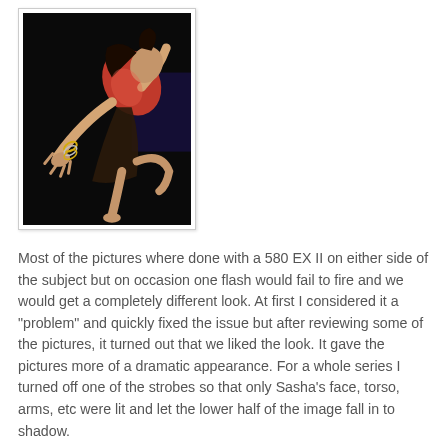[Figure (photo): A dancer (Sasha) photographed against a dark background, bending dramatically with one leg raised, wearing a red top and dark skirt with bangles on her wrists. The image is high-contrast with a black background.]
Most of the pictures where done with a 580 EX II on either side of the subject but on occasion one flash would fail to fire and we would get a completely different look. At first I considered it a "problem" and quickly fixed the issue but after reviewing some of the pictures, it turned out that we liked the look. It gave the pictures more of a dramatic appearance. For a whole series I turned off one of the strobes so that only Sasha's face, torso, arms, etc were lit and let the lower half of the image fall in to shadow.